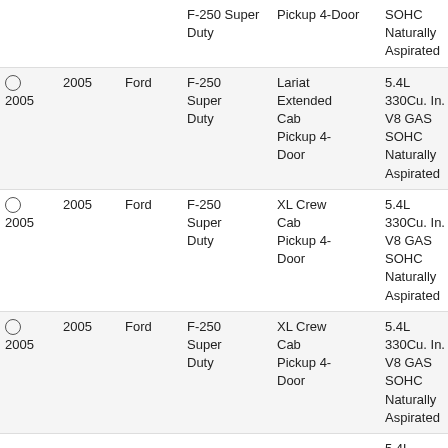|  | Year | Make | Model | Trim | Engine | Action |
| --- | --- | --- | --- | --- | --- | --- |
|  |  |  | F-250 Super Duty | Pickup 4-Door | SOHC Naturally Aspirated | In... |
| 2005 | 2005 | Ford | F-250 Super Duty | Lariat Extended Cab Pickup 4-Door | 5.4L 330Cu. In. V8 GAS SOHC Naturally Aspirated | Includ Hard In... |
| 2005 | 2005 | Ford | F-250 Super Duty | XL Crew Cab Pickup 4-Door | 5.4L 330Cu. In. V8 GAS SOHC Naturally Aspirated | Includ Hard In... |
| 2005 | 2005 | Ford | F-250 Super Duty | XL Crew Cab Pickup 4-Door | 5.4L 330Cu. In. V8 GAS SOHC Naturally Aspirated | Includ Hard In... |
|  |  |  |  |  | 5.4L |  |